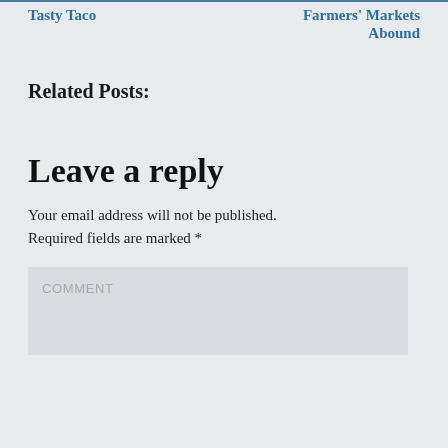Tasty Taco | Farmers' Markets Abound
Related Posts:
Leave a reply
Your email address will not be published. Required fields are marked *
COMMENT